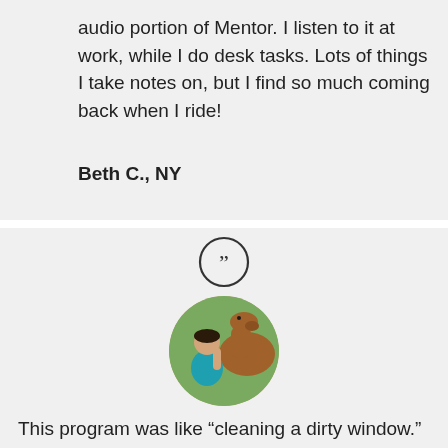audio portion of Mentor. I listen to it at work, while I do desk tasks. Lots of things I take notes on, but I find so much coming back when I ride!
Beth C., NY
[Figure (illustration): Circular quotation mark icon (closing double quotes) inside a circle outline]
[Figure (photo): Circular profile photo of a woman in a teal shirt with a brown horse, outdoors with green background]
This program was like “cleaning a dirty window.” I could see through it, sort of, but Jane cleaned up all the foggy stuff